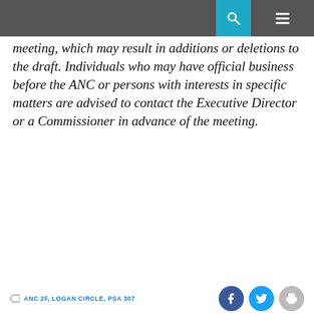meeting, which may result in additions or deletions to the draft. Individuals who may have official business before the ANC or persons with interests in specific matters are advised to contact the Executive Director or a Commissioner in advance of the meeting.
ANC 2F, LOGAN CIRCLE, PSA 307
[Figure (logo): Backyard Homes Building Co. logo — two house silhouettes (black and green), text 'BACKYARD HOMES' in large bold black letters, subtitle 'Dream Big. Build Small. Building Co.' with green and black text, two green horizontal lines above and below the main text.]
[Figure (photo): Partial photo showing a rooftop and sky with clouds and trees.]